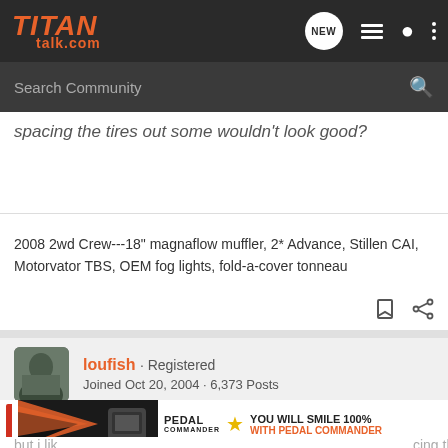TITAN talk.com
Search Community
spacing the tires out some wouldn't look good?
2008 2wd Crew---18" magnaflow muffler, 2* Advance, Stillen CAI, Motorvator TBS, OEM fog lights, fold-a-cover tonneau
loufish · Registered
Joined Oct 20, 2004 · 6,373 Posts
#6 · Nov 14, 2007
but i lik... cing the